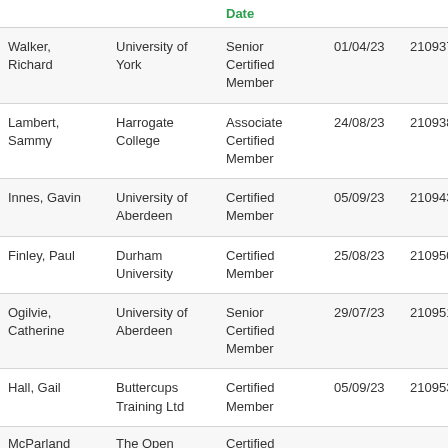|  |  | Date |  |  |
| --- | --- | --- | --- | --- |
| Walker, Richard | University of York | Senior Certified Member | 01/04/23 | 210937 |
| Lambert, Sammy | Harrogate College | Associate Certified Member | 24/08/23 | 210938 |
| Innes, Gavin | University of Aberdeen | Certified Member | 05/09/23 | 210943 |
| Finley, Paul | Durham University | Certified Member | 25/08/23 | 210950 |
| Ogilvie, Catherine | University of Aberdeen | Senior Certified Member | 29/07/23 | 210951 |
| Hall, Gail | Buttercups Training Ltd | Certified Member | 05/09/23 | 210953 |
| McParland | The Open | Certified |  |  |